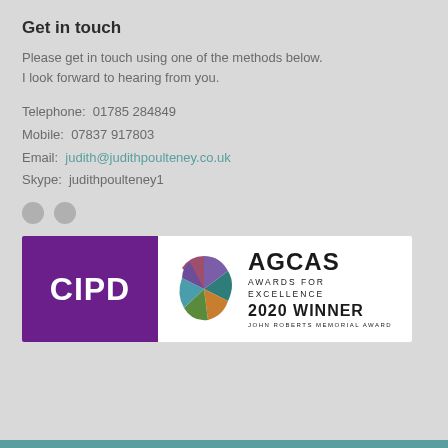Get in touch
Please get in touch using one of the methods below.
I look forward to hearing from you.
Telephone:  01785 284849
Mobile:  07837 917803
Email:  judith@judithpoulteney.co.uk
Skype:  judithpoulteney1
[Figure (logo): Two social media icon circles (grey)]
[Figure (logo): CIPD logo (purple box with white CIPD text) and AGCAS Awards for Excellence 2020 Winner John Roberts Memorial Award logo with colourful pinwheel graphic]